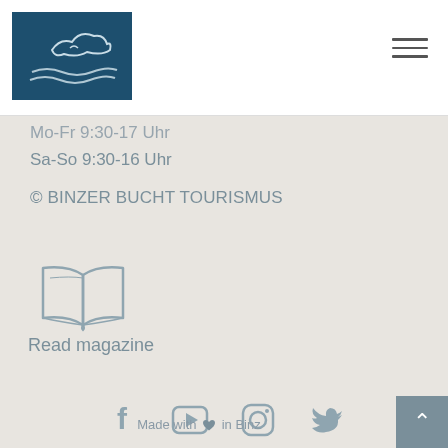[Figure (logo): Binzer Bucht Tourismus logo — dark teal rectangle with white stylized wave/bird graphic]
[Figure (other): Hamburger menu icon (three horizontal lines) in top right header]
Mo-Fr 9:30-17 Uhr
Sa-So 9:30-16 Uhr
© BINZER BUCHT TOURISMUS
[Figure (illustration): Open book icon outline in muted teal/grey color]
Read magazine
[Figure (other): Social media icons row: Facebook, YouTube, Instagram, Twitter — all in muted grey-blue color]
Made with ♥ in Binz